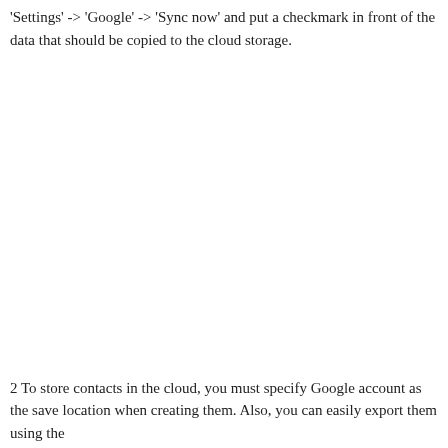'Settings' -> 'Google' -> 'Sync now' and put a checkmark in front of the data that should be copied to the cloud storage.
2 To store contacts in the cloud, you must specify Google account as the save location when creating them. Also, you can easily export them using the